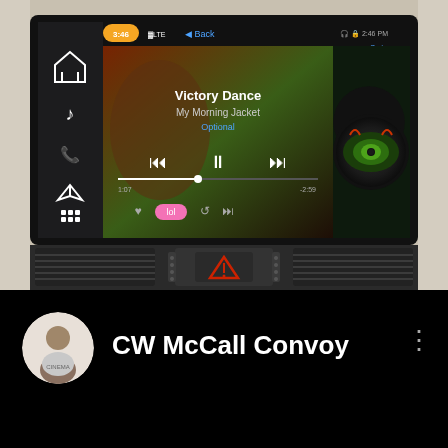[Figure (photo): Car dashboard infotainment screen showing Apple CarPlay with Spotify playing 'Victory Dance' by My Morning Jacket. The screen displays music controls including skip, pause/play buttons and album art. Below the screen are car dashboard vents and hazard light button.]
CW McCall Convoy